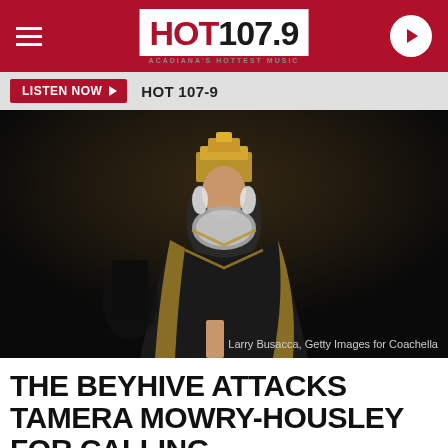HOT 107.9 — ACADIANA'S HOTTEST MUSIC
LISTEN NOW ▶  HOT 107-9
[Figure (photo): Beyoncé performing at Coachella, wearing an elaborate black and gold Egyptian-inspired costume with silver jeweled accessories and a crown. Photo credit: Larry Busacca, Getty Images for Coachella]
Larry Busacca, Getty Images for Coachella
THE BEYHIVE ATTACKS TAMERA MOWRY-HOUSLEY FOR CALLING